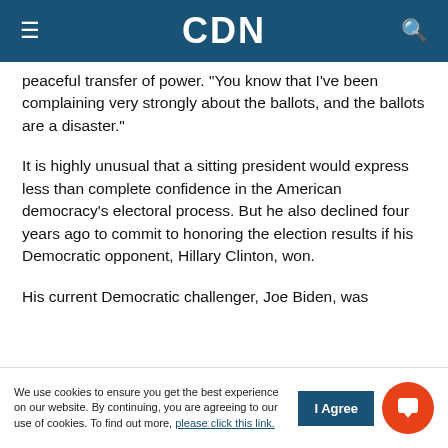CDN
peaceful transfer of power. "You know that I've been complaining very strongly about the ballots, and the ballots are a disaster."
It is highly unusual that a sitting president would express less than complete confidence in the American democracy's electoral process. But he also declined four years ago to commit to honoring the election results if his Democratic opponent, Hillary Clinton, won.
His current Democratic challenger, Joe Biden, was
We use cookies to ensure you get the best experience on our website. By continuing, you are agreeing to our use of cookies. To find out more, please click this link.